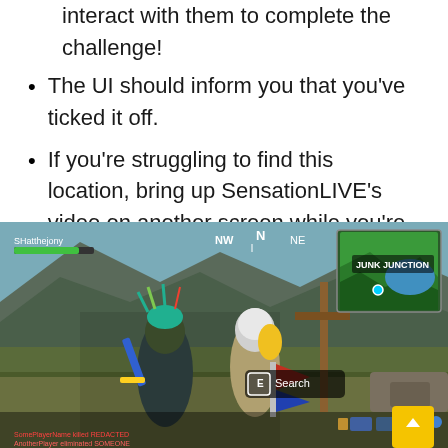interact with them to complete the challenge!
The UI should inform you that you've ticked it off.
If you're struggling to find this location, bring up SensationLIVE's video on another screen while you're in-game as it'll really help you out.
[Figure (screenshot): Fortnite in-game screenshot showing characters near a searchable item with a 'Search' prompt on screen, and a map overlay showing 'JUNK JUNCTION' in the top right corner.]